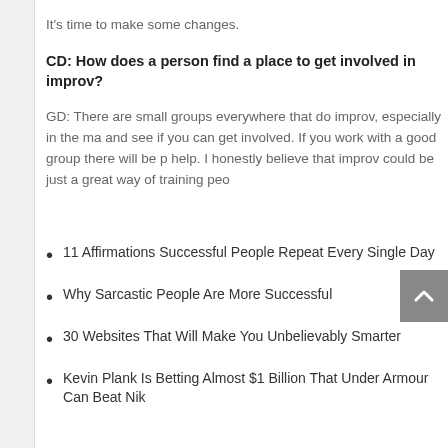It's time to make some changes.
CD: How does a person find a place to get involved in improv?
GD: There are small groups everywhere that do improv, especially in the ma and see if you can get involved. If you work with a good group there will be p help. I honestly believe that improv could be just a great way of training peo
11 Affirmations Successful People Repeat Every Single Day
Why Sarcastic People Are More Successful
30 Websites That Will Make You Unbelievably Smarter
Kevin Plank Is Betting Almost $1 Billion That Under Armour Can Beat Nik